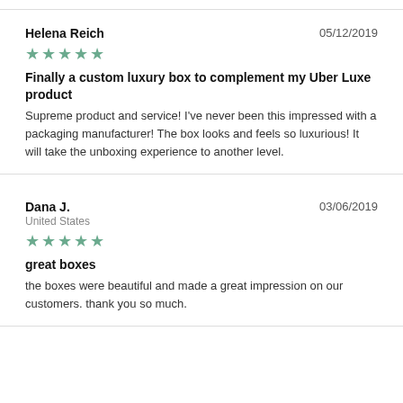Helena Reich — 05/12/2019 — ★★★★★
Finally a custom luxury box to complement my Uber Luxe product
Supreme product and service! I've never been this impressed with a packaging manufacturer! The box looks and feels so luxurious! It will take the unboxing experience to another level.
Dana J. — United States — 03/06/2019 — ★★★★★
great boxes
the boxes were beautiful and made a great impression on our customers. thank you so much.